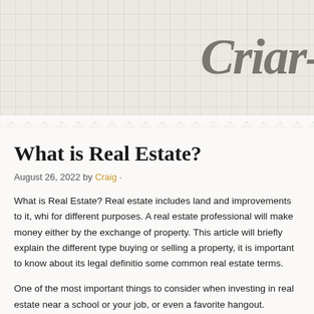Criar-
What is Real Estate?
August 26, 2022 by Craig ·
What is Real Estate? Real estate includes land and improvements to it, whi for different purposes. A real estate professional will make money either by the exchange of property. This article will briefly explain the different type buying or selling a property, it is important to know about its legal definitio some common real estate terms.
One of the most important things to consider when investing in real estate near a school or your job, or even a favorite hangout. Location is importan to prioritize it. It's also important to remember that neighborhoods change important consideration when you are buying a home. Therefore, you shou your area.Industrial real estate, on the other hand, includes buildings for in factories, and distribution centers. Industrial real estate can be costly, but